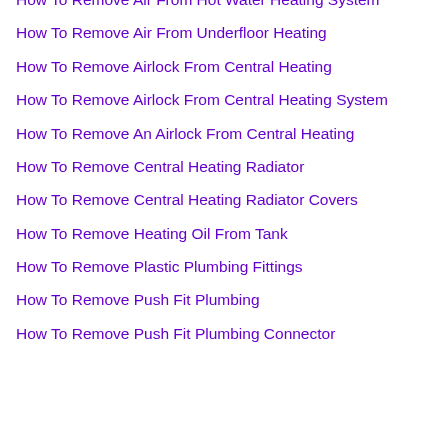How To Remove Air From Hot Water Heating System
How To Remove Air From Underfloor Heating
How To Remove Airlock From Central Heating
How To Remove Airlock From Central Heating System
How To Remove An Airlock From Central Heating
How To Remove Central Heating Radiator
How To Remove Central Heating Radiator Covers
How To Remove Heating Oil From Tank
How To Remove Plastic Plumbing Fittings
How To Remove Push Fit Plumbing
How To Remove Push Fit Plumbing Connector